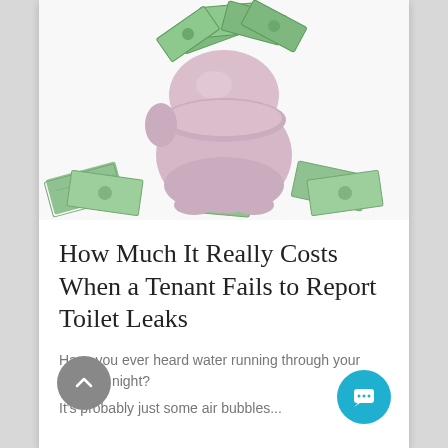[Figure (photo): A pink piggy bank (toilet-shaped) surrounded by and filled with US dollar bills scattered across a white background.]
How Much It Really Costs When a Tenant Fails to Report Toilet Leaks
Have you ever heard water running through your pipes at night?
It's probably just some air bubbles...